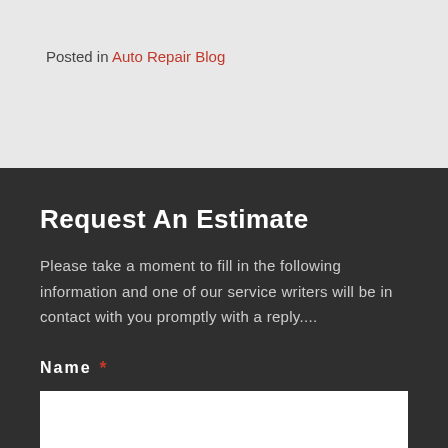Posted in Auto Repair Blog
Request An Estimate
Please take a moment to fill in the following information and one of our service writers will be in contact with you promptly with a reply....
Name *